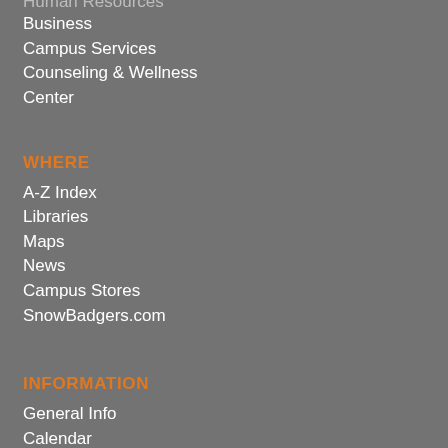Human Resources
Business
Campus Services
Counseling & Wellness Center
WHERE
A-Z Index
Libraries
Maps
News
Campus Stores
SnowBadgers.com
INFORMATION
General Info
Calendar